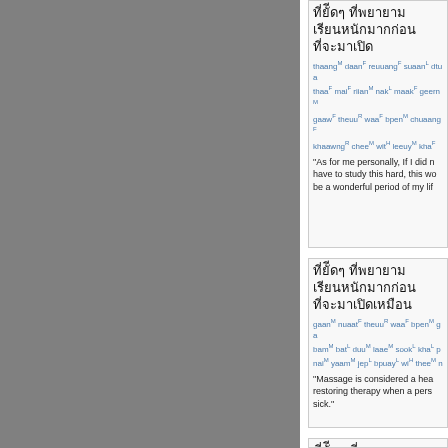Thai text block 1 with romanization: thaangM daanF reuuangF suaanL dtua... thaaF maiF riianM nakL maakF geern... gaawF theuuR waaF bpenM chuaangF... khaawngR cheeM witH leeuyM khaF
"As for me personally, If I did not have to study this hard, this would be a wonderful period of my life"
Thai text block 2 with romanization: gaanM nuaatF theuuR waaF bpenM ga... bamM batL duuM laaeM sookL khaL p... naiM yaamM jepL bpuayL wiH theeM n...
"Massage is considered a health restoring therapy when a person is sick."
Thai text block 3